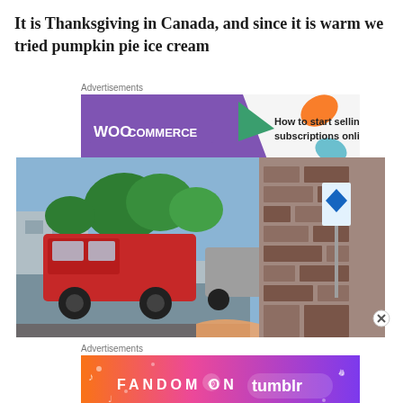It is Thanksgiving in Canada, and since it is warm we tried pumpkin pie ice cream
[Figure (infographic): WooCommerce advertisement banner: purple background with WooCommerce logo and text 'How to start selling subscriptions online' with colorful leaf shapes]
[Figure (photo): Street scene photo showing a red truck parked on a sidewalk with trees and buildings in background, stone wall on the right with a blue diamond-shaped sign/sticker]
[Figure (infographic): Fandom on Tumblr advertisement banner with colorful gradient background in orange, pink and purple with music and social media icons]